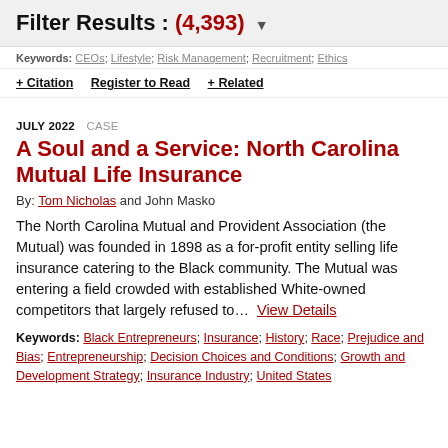Filter Results : (4,393) ▼
Keywords: CEOs; Lifestyle; Risk Management; Recruitment; Ethics
+ Citation   Register to Read   + Related
JULY 2022  CASE
A Soul and a Service: North Carolina Mutual Life Insurance
By: Tom Nicholas and John Masko
The North Carolina Mutual and Provident Association (the Mutual) was founded in 1898 as a for-profit entity selling life insurance catering to the Black community. The Mutual was entering a field crowded with established White-owned competitors that largely refused to...  View Details
Keywords: Black Entrepreneurs; Insurance; History; Race; Prejudice and Bias; Entrepreneurship; Decision Choices and Conditions; Growth and Development Strategy; Insurance Industry; United States